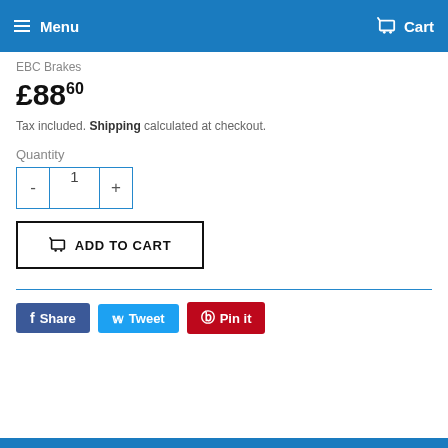Menu   Cart
EBC Brakes
£88.60
Tax included. Shipping calculated at checkout.
Quantity
- 1 +
ADD TO CART
Share   Tweet   Pin it